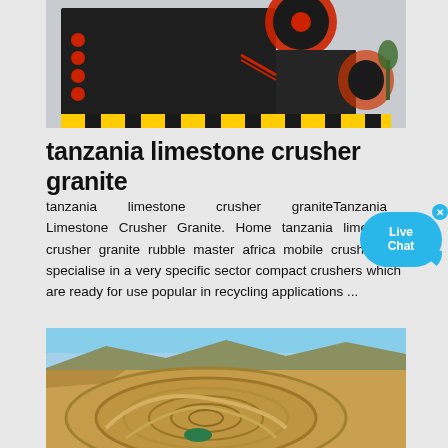[Figure (photo): Industrial crusher machine with black body, red circular component on top, red buttons/dots on side, cables, yellow-black hazard strip at bottom, industrial facility background]
tanzania limestone crusher granite
tanzania limestone crusher graniteTanzania Limestone Crusher Granite. Home tanzania limestone crusher granite rubble master africa mobile crusher we specialise in a very specific sector compact crushers which are ready for use popular in recycling applications ...
[Figure (photo): Aerial view of large open-pit mine with spiral terraced levels, arid desert landscape, mountains in background, small green pool at center bottom of pit]